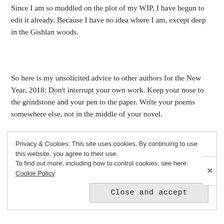Since I am so muddled on the plot of my WIP, I have begun to edit it already. Because I have no idea where I am, except deep in the Gishlan woods.
So here is my unsolicited advice to other authors for the New Year, 2018: Don't interrupt your own work. Keep your nose to the grindstone and your pen to the paper. Write your poems somewhere else, not in the middle of your novel.
Privacy & Cookies: This site uses cookies. By continuing to use this website, you agree to their use.
To find out more, including how to control cookies, see here: Cookie Policy
Close and accept